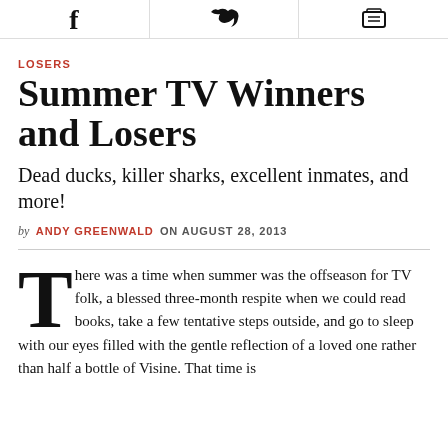[Figure (other): Social sharing icons bar: Facebook, Twitter, and print/email icon]
LOSERS
Summer TV Winners and Losers
Dead ducks, killer sharks, excellent inmates, and more!
by ANDY GREENWALD ON AUGUST 28, 2013
There was a time when summer was the offseason for TV folk, a blessed three-month respite when we could read books, take a few tentative steps outside, and go to sleep with our eyes filled with the gentle reflection of a loved one rather than half a bottle of Visine. That time is